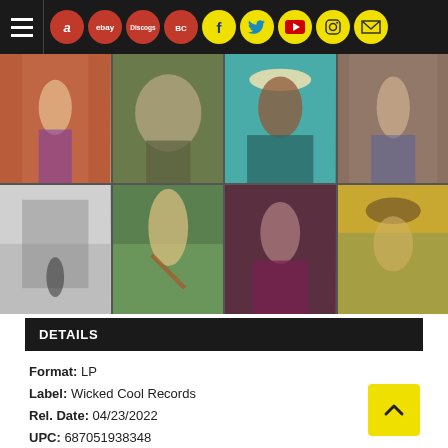Navigation bar with hamburger menu, Amazon, eBay, Discogs, Bandcamp, Facebook, Twitter, YouTube, Instagram, Email icons
[Figure (photo): Photo collage grid of 8 artist/musician photos arranged in 2 rows of 4 columns]
DETAILS
Format: LP
Label: Wicked Cool Records
Rel. Date: 04/23/2022
UPC: 687051938348